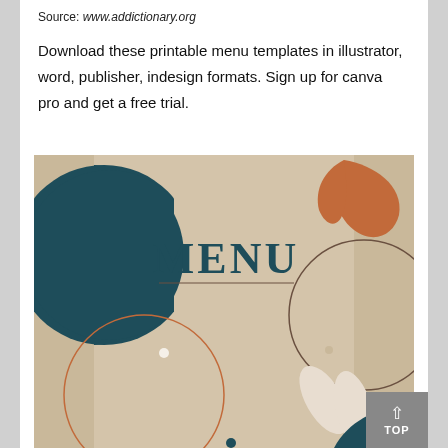Source: www.addictionary.org
Download these printable menu templates in illustrator, word, publisher, indesign formats. Sign up for canva pro and get a free trial.
[Figure (illustration): A decorative printable menu template cover with a tan/beige background. Features abstract geometric shapes: a dark teal half-circle on the left, an orange/rust abstract leaf shape in the upper right, two circular outlines (lower left and right), white oval shapes at bottom right, and a dark teal filled arc at the bottom right. The word MENU is printed in large dark teal serif bold letters in the upper center, with a horizontal rule beneath it.]